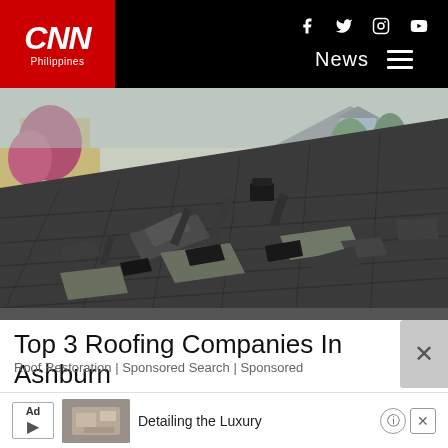[Figure (logo): CNN Philippines logo on black navigation bar with red background logo box, social icons (facebook, twitter, instagram, youtube), News menu label and hamburger menu on the right]
[Figure (photo): Damaged residential roof with shingles blown off and curling, suburban neighborhood visible in background with trees and houses]
Top 3 Roofing Companies In Ashburn
Roof Restoration | Sponsored Search | Sponsored
[Figure (photo): Small thumbnail image of a luxury interior room, part of a bottom advertisement row labeled 'Ad' with text 'Detailing the Luxury']
Detailing the Luxury